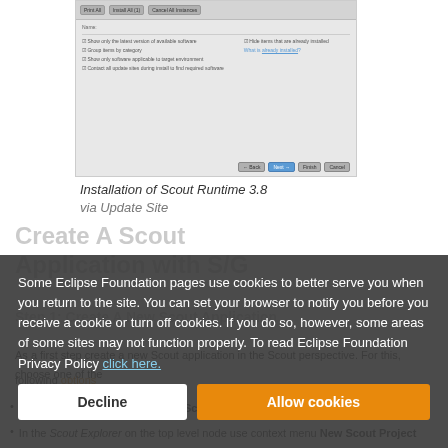[Figure (screenshot): Screenshot of Eclipse Scout Runtime 3.8 installation dialog via Update Site]
Installation of Scout Runtime 3.8 via Update Site
Create A Scout Application with S/G
Some Eclipse Foundation pages use cookies to better serve you when you return to the site. You can set your browser to notify you before you receive a cookie or turn off cookies. If you do so, however, some areas of some sites may not function properly. To read Eclipse Foundation Privacy Policy click here.
As a first step create a new Scout application in the Scout perspective. For this, choose one of the following options
Use menu File, New, Project... → Scout Project
In the Scout Explorer on the top level node use context menu New Scout Project